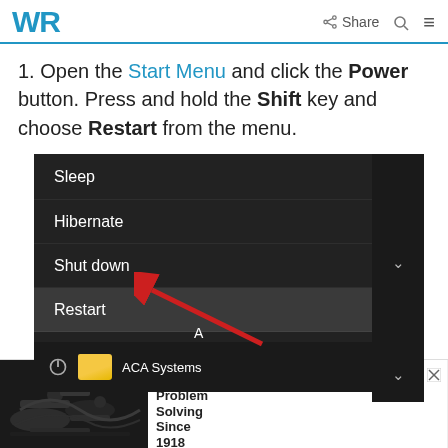WR | Share
1. Open the Start Menu and click the Power button. Press and hold the Shift key and choose Restart from the menu.
[Figure (screenshot): Windows 10 Start Menu power options showing Sleep, Hibernate, Shut down, and Restart options with a red arrow pointing to Restart. ACA Systems folder visible in taskbar area.]
[Figure (screenshot): Advertisement bar at bottom: Dorman® Products — Problem Solving Since 1918, with engine photo and OPEN button.]